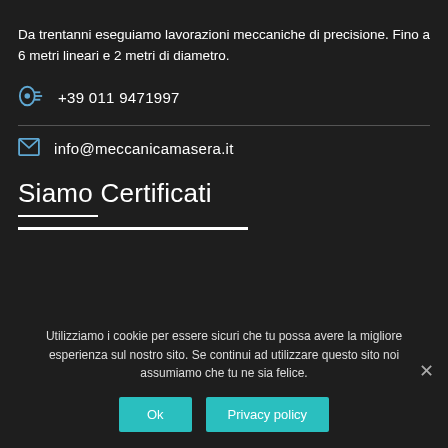Da trentanni eseguiamo lavorazioni meccaniche di precisione. Fino a 6 metri lineari e 2 metri di diametro.
+39 011 9471997
info@meccanicamasera.it
Siamo Certificati
Utilizziamo i cookie per essere sicuri che tu possa avere la migliore esperienza sul nostro sito. Se continui ad utilizzare questo sito noi assumiamo che tu ne sia felice.
Ok
Privacy policy